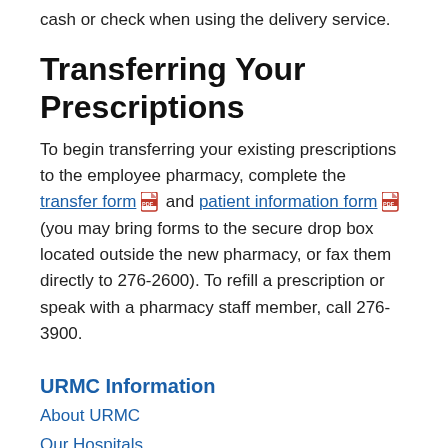cash or check when using the delivery service.
Transferring Your Prescriptions
To begin transferring your existing prescriptions to the employee pharmacy, complete the transfer form and patient information form (you may bring forms to the secure drop box located outside the new pharmacy, or fax them directly to 276-2600). To refill a prescription or speak with a pharmacy staff member, call 276-3900.
URMC Information
About URMC
Our Hospitals
Departments & Centers